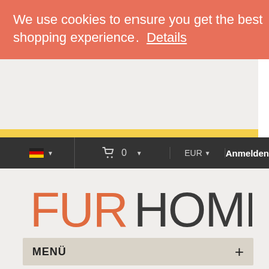We use cookies to ensure you get the best shopping experience. Details
🇩🇪 ▾  🛒 0 ▾  EUR ▾  Anmelden
[Figure (logo): FurHome logo with FUR in orange and HOME in dark gray]
MENÜ +
Suche
Dunkel Braun Toscana Pelzdecke-Wurf